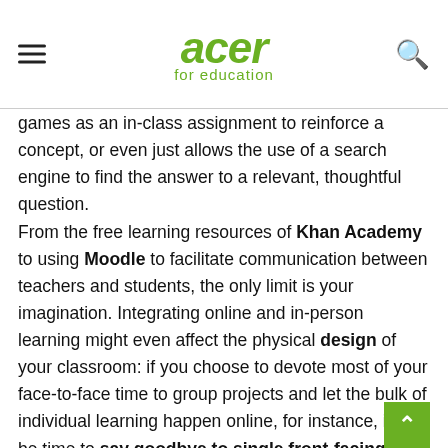acer for education
games as an in-class assignment to reinforce a concept, or even just allows the use of a search engine to find the answer to a relevant, thoughtful question.
From the free learning resources of Khan Academy to using Moodle to facilitate communication between teachers and students, the only limit is your imagination. Integrating online and in-person learning might even affect the physical design of your classroom: if you choose to devote most of your face-to-face time to group projects and let the bulk of individual learning happen online, for instance, it may be time to say goodbye to single front-facing desks and perhaps involve the students in finding a new and more dynamic configuration that suits them better.
There can be wrong ways to attempt blended learning: if implemented haphazardly by teachers who have failed to educate themselves first, it will not be effective. But providing that the educators have mastered the tools at their disposal